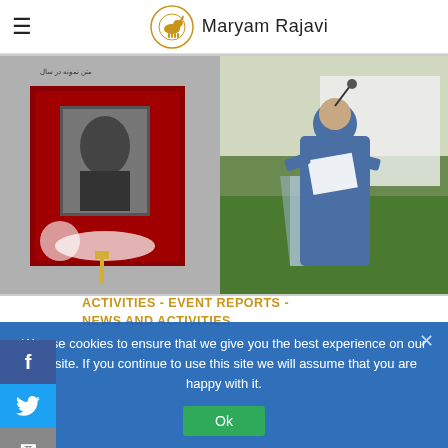Maryam Rajavi
[Figure (photo): Two-panel photo: left panel shows a memorial with a portrait photograph surrounded by red flowers and a wreath; right panel shows a woman in a blue outfit and blue hijab speaking at a transparent podium outdoors.]
ACTIVITIES - EVENT REPORTS - NEWS AND ACTIVITIES
We use cookies to ensure that we give you the best experience on our website. If you continue to use this site we will assume that you are happy with it.